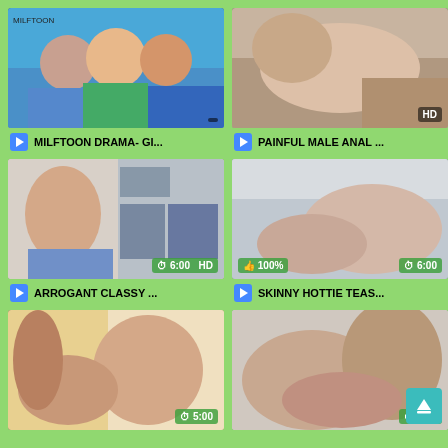[Figure (screenshot): Animated/cartoon thumbnail showing cartoon women - MILFTOON DRAMA video]
MILFTOON DRAMA- GI...
[Figure (screenshot): Real video thumbnail HD badge - PAINFUL MALE ANAL video]
PAINFUL MALE ANAL ...
[Figure (screenshot): Video thumbnail 6:00 HD badge - ARROGANT CLASSY video]
ARROGANT CLASSY ...
[Figure (screenshot): Video thumbnail 6:00 100% like badge - SKINNY HOTTIE TEAS video]
SKINNY HOTTIE TEAS...
[Figure (screenshot): Video thumbnail 5:00 badge - partial view]
[Figure (screenshot): Video thumbnail 5:18 badge with scroll-up button - partial view]